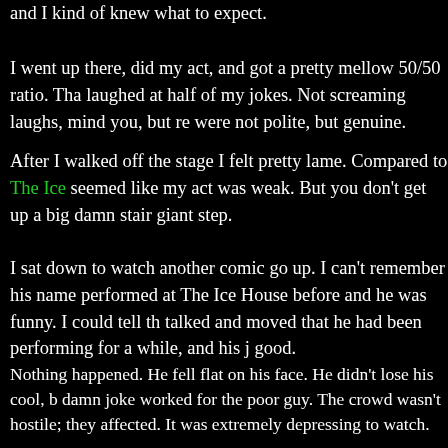and I kind of knew what to expect.
I went up there, did my act, and got a pretty mellow 50/50 ratio. Tha laughed at half of my jokes. Not screaming laughs, mind you, but re were not polite, but genuine.
After I walked off the stage I felt pretty lame. Compared to The Ice seemed like my act was weak. But you don't get up a big damn stair giant step.
I sat down to watch another comic go up. I can't remember his name performed at The Ice House before and he was funny. I could tell th talked and moved that he had been performing for a while, and his j good.
Nothing happened. He fell flat on his face. He didn't lose his cool, b damn joke worked for the poor guy. The crowd wasn't hostile; they affected. It was extremely depressing to watch.
The comic was a total pro. He finished his set as relaxed as possible the stage. The thing was, he was a much more experienced comedia wasn't his night, that night.